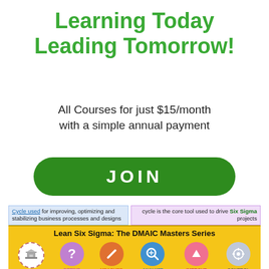Learning Today
Leading Tomorrow!
All Courses for just $15/month
with a simple annual payment
JOIN
Cycle used for improving, optimizing and stabilizing business processes and designs
cycle is the core tool used to drive Six Sigma projects
Lean Six Sigma: The DMAIC Masters Series
[Figure (infographic): DMAIC cycle icons: Foundations (building), Define (?), Measure (slash), Analyze (magnifier), Improve (arrow up), Control (wheel)]
We Are Here!
DMAIC is not exclusive to Six Sigma and can be used as the framework for other improvement applications